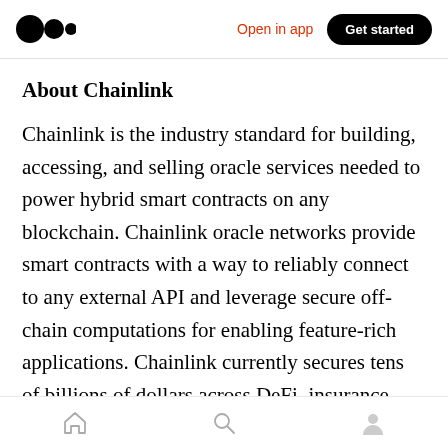Open in app | Get started
About Chainlink
Chainlink is the industry standard for building, accessing, and selling oracle services needed to power hybrid smart contracts on any blockchain. Chainlink oracle networks provide smart contracts with a way to reliably connect to any external API and leverage secure off-chain computations for enabling feature-rich applications. Chainlink currently secures tens of billions of dollars across DeFi, insurance, gaming, and other major industries, and offers global
Home | Search | Profile